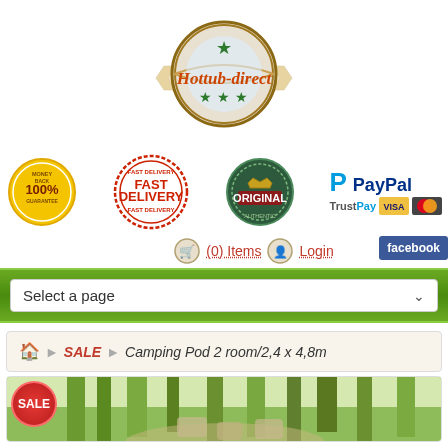[Figure (logo): Hottub-direct wooden barrel logo with green stars and ribbon banner]
[Figure (infographic): Row of trust badges: 100% Money Back Guarantee gold seal, Fast Delivery red stamp, Original green badge, PayPal/TrustPay/Visa/Mastercard payment icons]
(0) Items   Login   facebook
Select a page
SALE > Camping Pod 2 room/2,4 x 4,8m
[Figure (photo): Product image strip showing woodland/outdoor scene with SALE badge]